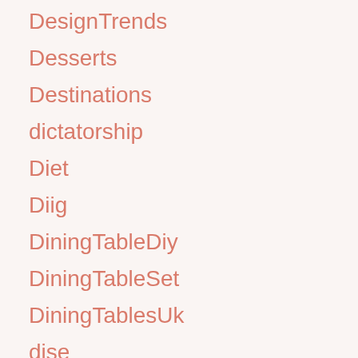DesignTrends
Desserts
Destinations
dictatorship
Diet
Diig
DiningTableDiy
DiningTableSet
DiningTablesUk
dise
Displayport
DIY
DIYDare
diyindoorplayhouse
DiyPicnicTables